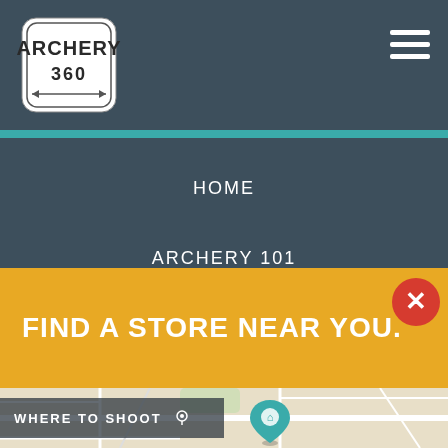[Figure (logo): Archery 360 logo — shield shape with text ARCHERY 360 and arrows]
[Figure (infographic): Hamburger menu icon (three white horizontal lines) in top right corner]
HOME
ARCHERY 101
FIND A STORE NEAR YOU.
[Figure (map): Street map showing city roads and a teal map pin with a house icon]
WHERE TO SHOOT